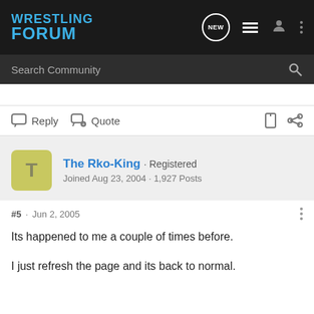WRESTLING FORUM
Search Community
Reply  Quote
The Rko-King · Registered
Joined Aug 23, 2004 · 1,927 Posts
#5 · Jun 2, 2005
Its happened to me a couple of times before.
I just refresh the page and its back to normal.